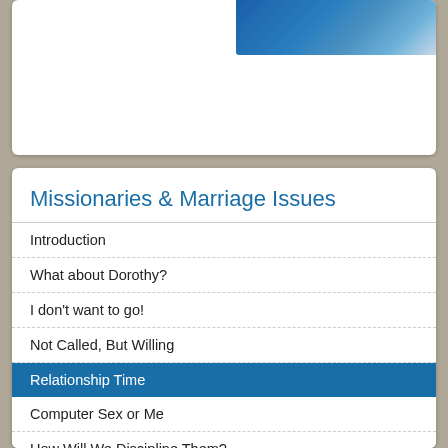[Figure (photo): Photo of people, partially visible at top right of card]
Missionaries & Marriage Issues
Introduction
What about Dorothy?
I don't want to go!
Not Called, But Willing
Relationship Time
Computer Sex or Me
How Will We Discipline Them?
Wounds, Scabs, and Scars
This is no Honeymoon!
I'm Marrying a National!
I wish your parents would leave us alone!
Digital Distractions (partially visible)